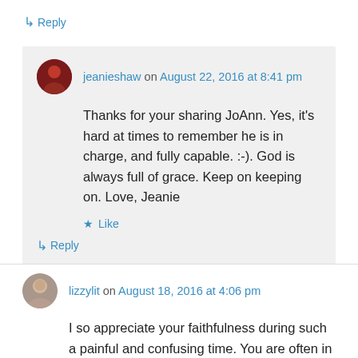↳ Reply
jeanieshaw on August 22, 2016 at 8:41 pm
Thanks for your sharing JoAnn. Yes, it's hard at times to remember he is in charge, and fully capable. :-). God is always full of grace. Keep on keeping on. Love, Jeanie
★ Like
↳ Reply
lizzylit on August 18, 2016 at 4:06 pm
I so appreciate your faithfulness during such a painful and confusing time. You are often in my